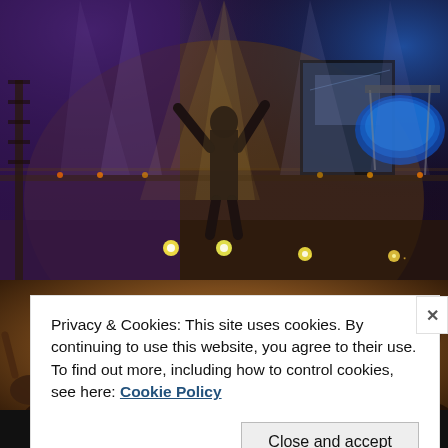[Figure (photo): Concert photo showing a performer on stage with arms raised, illuminated by colorful stage lights (purple, yellow, blue), with a large crowd of audience members in the foreground with hands raised]
Privacy & Cookies: This site uses cookies. By continuing to use this website, you agree to their use.
To find out more, including how to control cookies, see here: Cookie Policy
Close and accept
money-making online course.